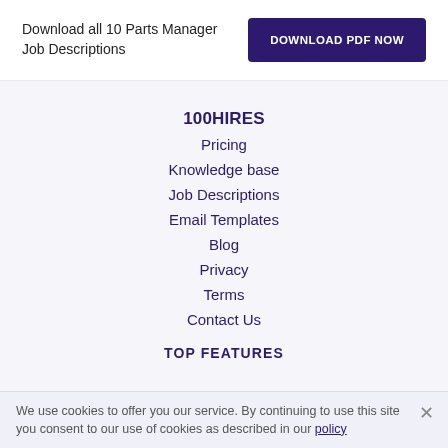Download all 10 Parts Manager Job Descriptions
DOWNLOAD PDF NOW
100HIRES
Pricing
Knowledge base
Job Descriptions
Email Templates
Blog
Privacy
Terms
Contact Us
TOP FEATURES
We use cookies to offer you our service. By continuing to use this site you consent to our use of cookies as described in our policy